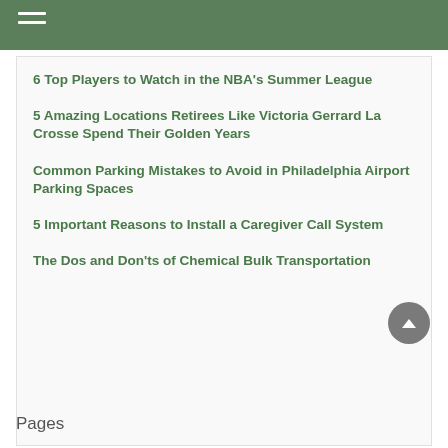6 Top Players to Watch in the NBA's Summer League
5 Amazing Locations Retirees Like Victoria Gerrard La Crosse Spend Their Golden Years
Common Parking Mistakes to Avoid in Philadelphia Airport Parking Spaces
5 Important Reasons to Install a Caregiver Call System
The Dos and Don'ts of Chemical Bulk Transportation
Pages